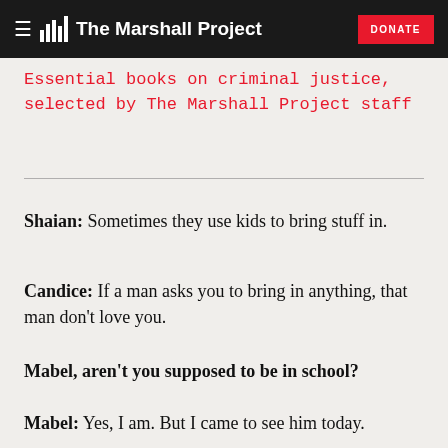The Marshall Project | DONATE
Essential books on criminal justice, selected by The Marshall Project staff
Shaian: Sometimes they use kids to bring stuff in.
Candice: If a man asks you to bring in anything, that man don't love you.
Mabel, aren't you supposed to be in school?
Mabel: Yes, I am. But I came to see him today.